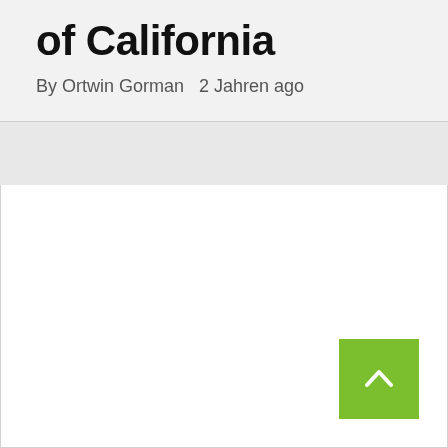of California
By Ortwin Gorman   2 Jahren ago
[Figure (other): White content area with a green back-to-top button (upward chevron arrow) in the bottom right corner]